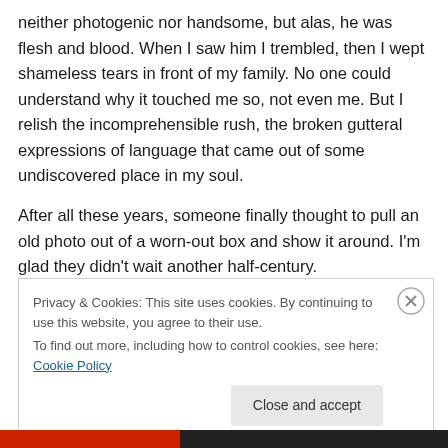neither photogenic nor handsome, but alas, he was flesh and blood. When I saw him I trembled, then I wept shameless tears in front of my family. No one could understand why it touched me so, not even me. But I relish the incomprehensible rush, the broken gutteral expressions of language that came out of some undiscovered place in my soul.
After all these years, someone finally thought to pull an old photo out of a worn-out box and show it around. I'm glad they didn't wait another half-century.
Privacy & Cookies: This site uses cookies. By continuing to use this website, you agree to their use.
To find out more, including how to control cookies, see here: Cookie Policy